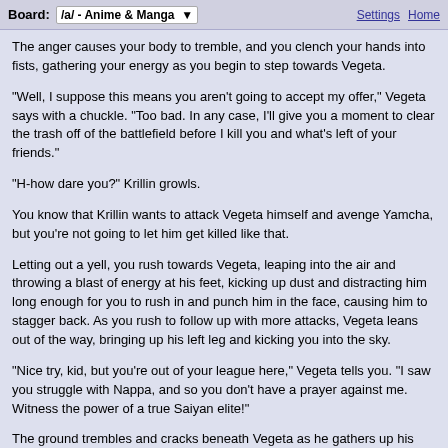Board: /a/ - Anime & Manga | Settings Home
The anger causes your body to tremble, and you clench your hands into fists, gathering your energy as you begin to step towards Vegeta.
"Well, I suppose this means you aren't going to accept my offer," Vegeta says with a chuckle. "Too bad. In any case, I'll give you a moment to clear the trash off of the battlefield before I kill you and what's left of your friends."
"H-how dare you?" Krillin growls.
You know that Krillin wants to attack Vegeta himself and avenge Yamcha, but you're not going to let him get killed like that.
Letting out a yell, you rush towards Vegeta, leaping into the air and throwing a blast of energy at his feet, kicking up dust and distracting him long enough for you to rush in and punch him in the face, causing him to stagger back. As you rush to follow up with more attacks, Vegeta leans out of the way, bringing up his left leg and kicking you into the sky.
"Nice try, kid, but you're out of your league here," Vegeta tells you. "I saw you struggle with Nappa, and so you don't have a prayer against me. Witness the power of a true Saiyan elite!"
The ground trembles and cracks beneath Vegeta as he gathers up his energy, letting out a yell as the wind picks up, and stormclouds roll in, blackening the sky. You can feel Vegeta's power rising rapidly.